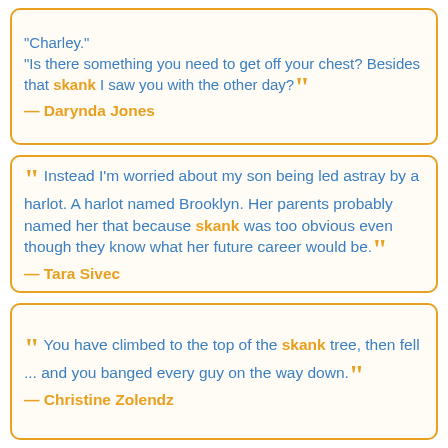"Charley." "Is there something you need to get off your chest? Besides that skank I saw you with the other day?" — Darynda Jones
Instead I'm worried about my son being led astray by a harlot. A harlot named Brooklyn. Her parents probably named her that because skank was too obvious even though they know what her future career would be. — Tara Sivec
You have climbed to the top of the skank tree, then fell ... and you banged every guy on the way down. — Christine Zolendz